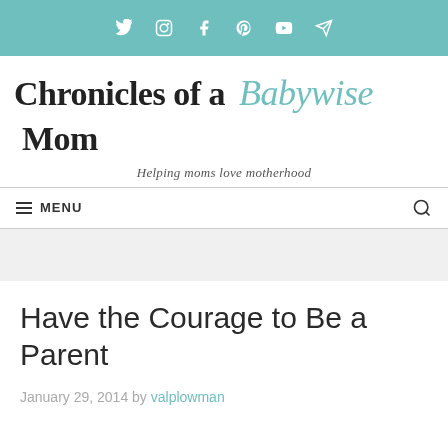Social media icons bar (Twitter, Instagram, Facebook, Pinterest, YouTube, Telegram)
Chronicles of a Babywise Mom
Helping moms love motherhood
MENU
Have the Courage to Be a Parent
January 29, 2014 by valplowman